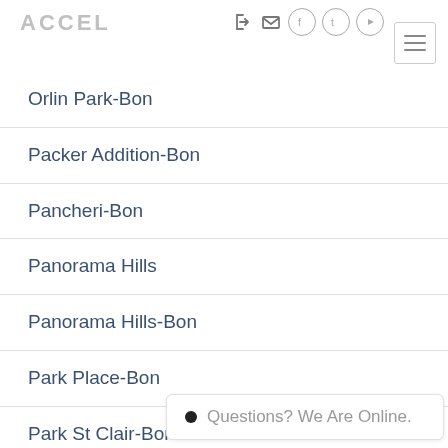ACCEL
Orlin Park-Bon
Packer Addition-Bon
Pancheri-Bon
Panorama Hills
Panorama Hills-Bon
Park Place-Bon
Park St Clair-Bon
Parkway Condos-Bon
Questions? We Are Online.